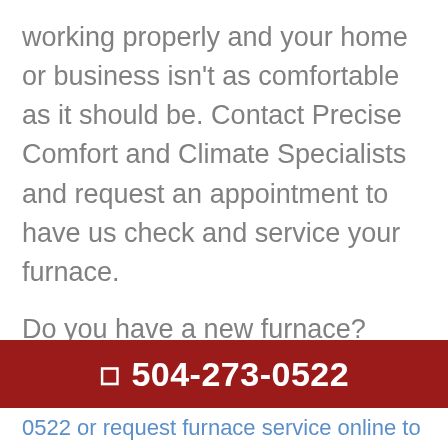working properly and your home or business isn't as comfortable as it should be. Contact Precise Comfort and Climate Specialists and request an appointment to have us check and service your furnace.
Do you have a new furnace? Even new furnaces benefit from regular maintenance, which keeps them running efficiently and saves you money. Has your furnace stopped working properly? Precise Comfort and Climate Specialists is equipped to take care of any furnace service repair you need in New
504-273-0522
0522 or request furnace service online to